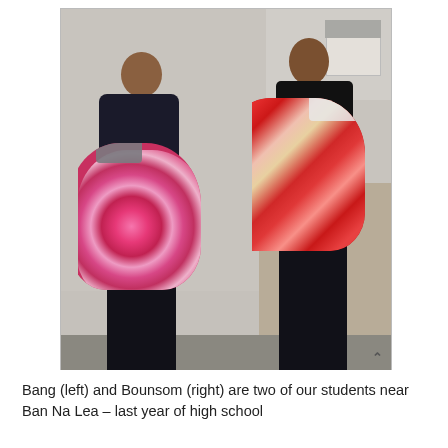[Figure (photo): Two young male students standing outdoors against a light gray wall, each holding large bundles of folded blankets. The student on the left (Bang) holds pink/red floral blankets, wearing a dark floral shirt. The student on the right (Bounsom) holds red/orange blankets, wearing a black outfit. A building and sandy ground are visible in the background.]
Bang (left) and Bounsom (right) are two of our students near Ban Na Lea – last year of high school